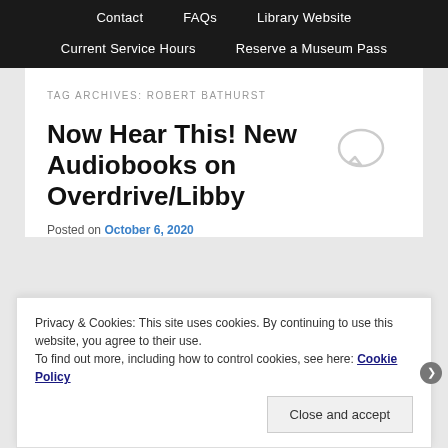Contact  FAQs  Library Website  Current Service Hours  Reserve a Museum Pass
TAG ARCHIVES: ROBERT BATHURST
Now Hear This! New Audiobooks on Overdrive/Libby
Posted on October 6, 2020
Privacy & Cookies: This site uses cookies. By continuing to use this website, you agree to their use.
To find out more, including how to control cookies, see here: Cookie Policy
Close and accept